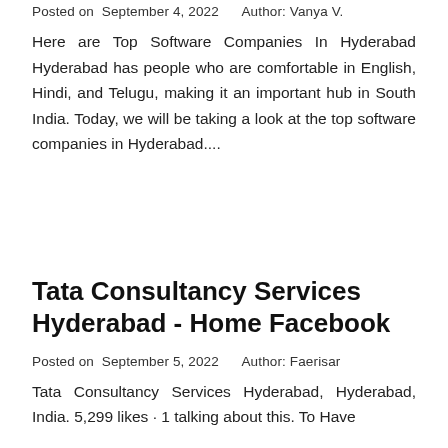Posted on  September 4, 2022     Author: Vanya V.
Here are Top Software Companies In Hyderabad Hyderabad has people who are comfortable in English, Hindi, and Telugu, making it an important hub in South India. Today, we will be taking a look at the top software companies in Hyderabad....
Tata Consultancy Services Hyderabad - Home Facebook
Posted on  September 5, 2022     Author: Faerisar
Tata Consultancy Services Hyderabad, Hyderabad, India. 5,299 likes · 1 talking about this. To Have